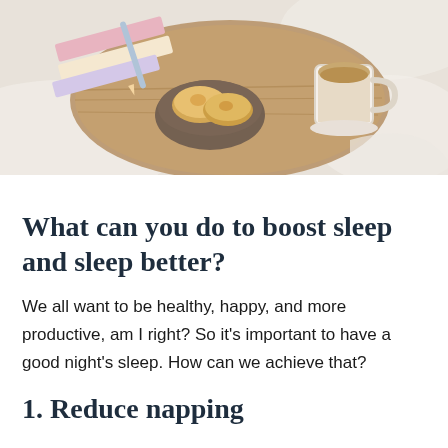[Figure (photo): Overhead view of a wooden breakfast tray on a bed with books, pastries in a bowl, and a cup of coffee on white linen]
What can you do to boost sleep and sleep better?
We all want to be healthy, happy, and more productive, am I right? So it’s important to have a good night’s sleep. How can we achieve that?
1. Reduce napping